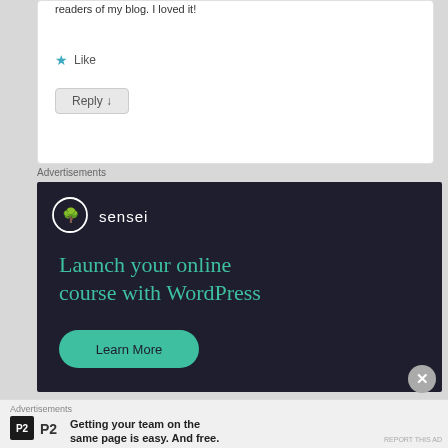readers of my blog. I loved it!
★ Like
Reply ↓
Advertisements
[Figure (screenshot): Sensei advertisement on dark background: logo with tree icon, brand name 'sensei', headline 'Launch your online course with WordPress', and a teal 'Learn More' button. Close (X) button in bottom-right corner.]
Advertisements
[Figure (screenshot): P2 advertisement banner with P2 logo icon and tagline: 'Getting your team on the same page is easy. And free.']